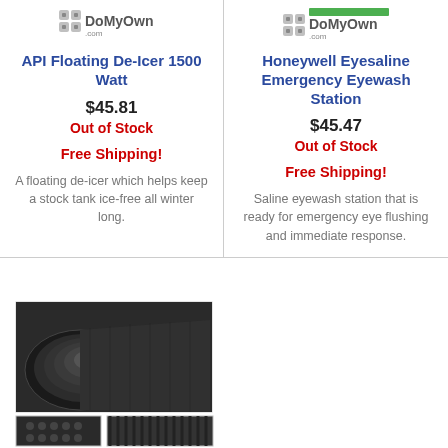[Figure (logo): DoMyOwn logo top-left]
API Floating De-Icer 1500 Watt
$45.81
Out of Stock
Free Shipping!
A floating de-icer which helps keep a stock tank ice-free all winter long.
[Figure (logo): DoMyOwn logo top-right with green bar]
Honeywell Eyesaline Emergency Eyewash Station
$45.47
Out of Stock
Free Shipping!
Saline eyewash station that is ready for emergency eye flushing and immediate response.
[Figure (photo): Black rubber mat rolled up, with thumbnail images of mat texture patterns below]